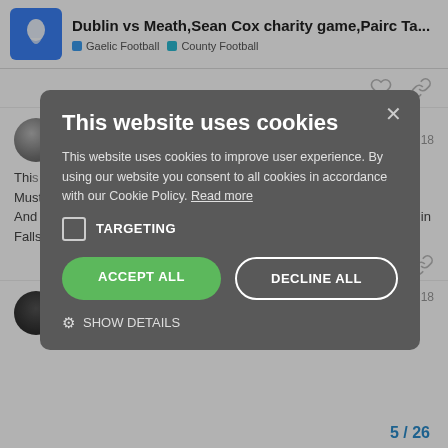Dublin vs Meath,Sean Cox charity game,Pairc Ta... | Gaelic Football | County Football
upthedall  Nov '18
This [text partially obscured by modal] ities. Must be something for the family. And [text partially obscured] ntary and community wor[k] the scenes. I know Jim G was up in Falls Park recently for Anto Finnegan.
[Figure (screenshot): Cookie consent modal overlay with title 'This website uses cookies', body text about cookie policy, TARGETING checkbox, ACCEPT ALL and DECLINE ALL buttons, and SHOW DETAILS link]
DUB09  Nov '18
Brian Fenton was up in Derry the night afte
5 / 26